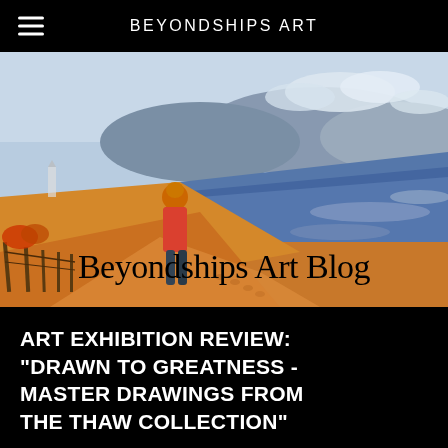BEYONDSHIPS ART
[Figure (illustration): Painting of a person standing on a sandy beach path leading to the ocean, with warm orange sand dunes, blue-purple ocean waves, mountains in the background, and a lighthouse visible in the distance. Text overlay reads 'Beyondships Art Blog'.]
ART EXHIBITION REVIEW: "DRAWN TO GREATNESS - MASTER DRAWINGS FROM THE THAW COLLECTION"